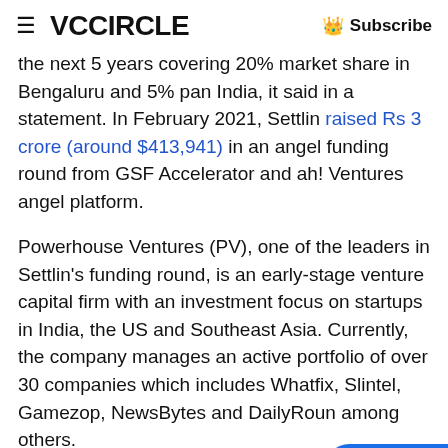VCCiRCLE  Subscribe
the next 5 years covering 20% market share in Bengaluru and 5% pan India, it said in a statement. In February 2021, Settlin raised Rs 3 crore (around $413,941) in an angel funding round from GSF Accelerator and ah! Ventures angel platform.
Powerhouse Ventures (PV), one of the leaders in Settlin's funding round, is an early-stage venture capital firm with an investment focus on startups in India, the US and Southeast Asia. Currently, the company manages an active portfolio of over 30 companies which includes Whatfix, Slintel, Gamezop, NewsBytes and DailyRound among others.
Advertisement